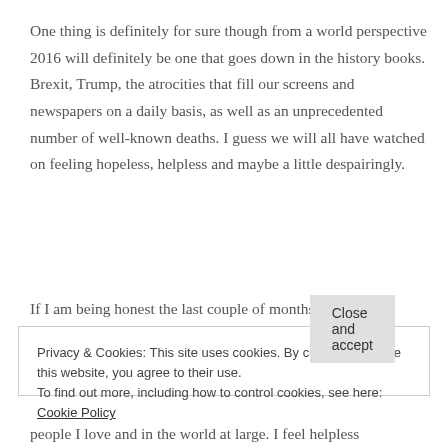One thing is definitely for sure though from a world perspective 2016 will definitely be one that goes down in the history books. Brexit, Trump, the atrocities that fill our screens and newspapers on a daily basis, as well as an unprecedented number of well-known deaths. I guess we will all have watched on feeling hopeless, helpless and maybe a little despairingly.
If I am being honest the last couple of months I have
Privacy & Cookies: This site uses cookies. By continuing to use this website, you agree to their use.
To find out more, including how to control cookies, see here: Cookie Policy
Close and accept
people I love and in the world at large. I feel helpless